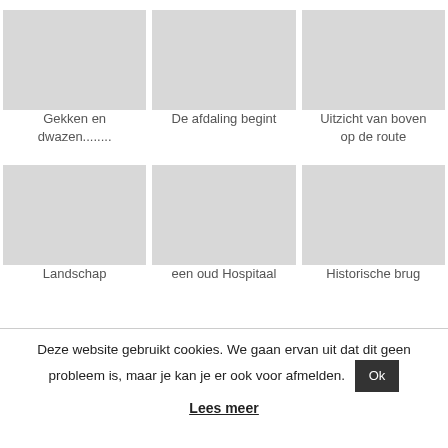[Figure (photo): Three image placeholders in a row (top row): images for 'Gekken en dwazen........', 'De afdaling begint', 'Uitzicht van boven op de route']
Gekken en dwazen........
De afdaling begint
Uitzicht van boven op de route
[Figure (photo): Three image placeholders in a row (bottom row): images for 'Landschap', 'een oud Hospitaal', 'Historische brug']
Landschap
een oud Hospitaal
Historische brug
Deze website gebruikt cookies. We gaan ervan uit dat dit geen probleem is, maar je kan je er ook voor afmelden. Ok
Lees meer